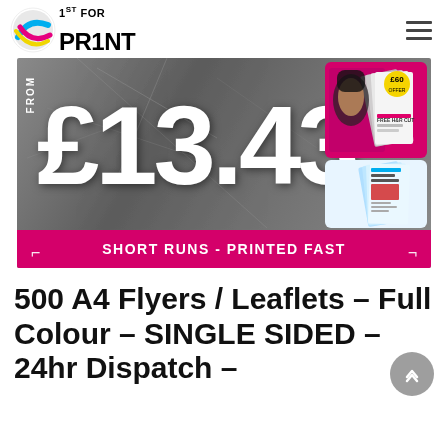1stForPrint logo and navigation
[Figure (photo): Promotional banner for flyer printing service showing 'FROM £13.43' in large white text on grey marble background, with sample flyers on the right side, and pink strip at the bottom reading 'SHORT RUNS - PRINTED FAST']
500 A4 Flyers / Leaflets – Full Colour – SINGLE SIDED – 24hr Dispatch –